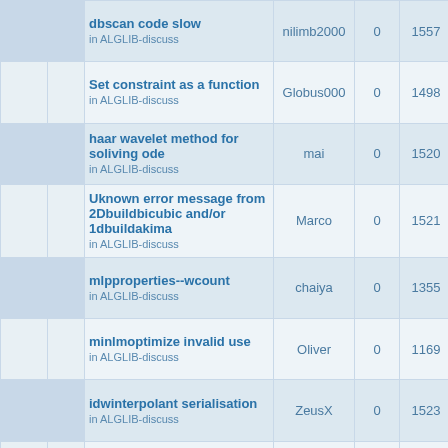|  |  | Topic | Author | Replies | Views | Last post |
| --- | --- | --- | --- | --- | --- | --- |
|  |  | dbscan code slow
in ALGLIB-discuss | nilimb2000 | 0 | 1557 | Mon Feb
8:4
nilimb2000 |
|  |  | Set constraint as a function
in ALGLIB-discuss | Globus000 | 0 | 1498 | Sat Feb
11:4
Globus000 |
|  |  | haar wavelet method for soliving ode
in ALGLIB-discuss | mai | 0 | 1520 | Wed
2019
mai |
|  |  | Uknown error message from 2Dbuildbicubic and/or 1dbuildakima
in ALGLIB-discuss | Marco | 0 | 1521 | Sat Feb
5:0
Marco |
|  |  | mlpproperties--wcount
in ALGLIB-discuss | chaiya | 0 | 1355 | Sun Jan
3:0
chaiya |
|  |  | minlmoptimize invalid use
in ALGLIB-discuss | Oliver | 0 | 1169 | Fri Dec
9:3
Oliver |
|  |  | idwinterpolant serialisation
in ALGLIB-discuss | ZeusX | 0 | 1523 | Wed Oc
12:1
ZeusX |
|  |  | Delhi compile error
in ALGLIB-discuss | Fabiomsf | 0 | 1525 | Tue Sep
2:5
Fabiomsf |